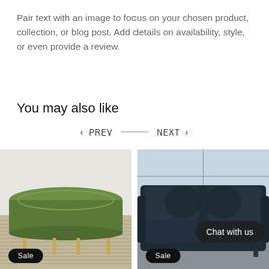Pair text with an image to focus on your chosen product, collection, or blog post. Add details on availability, style, or even provide a review.
You may also like
< PREV — NEXT >
[Figure (photo): Green velvet ottoman on gold legs, on a woven rug, with a 'Sale' badge.]
[Figure (photo): Dark blue/charcoal sofa with cushions in a bright room, with a 'Chat with us' overlay and 'Sale' badge.]